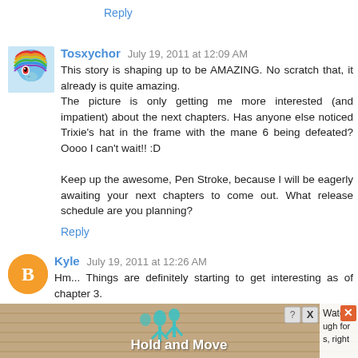Reply
[Figure (illustration): Avatar of Tosxychor: Rainbow Dash cartoon pony icon]
Tosxychor  July 19, 2011 at 12:09 AM
This story is shaping up to be AMAZING. No scratch that, it already is quite amazing.
The picture is only getting me more interested (and impatient) about the next chapters. Has anyone else noticed Trixie's hat in the frame with the mane 6 being defeated? Oooo I can't wait!! :D

Keep up the awesome, Pen Stroke, because I will be eagerly awaiting your next chapters to come out. What release schedule are you planning?
Reply
[Figure (illustration): Avatar of Kyle: orange circle with white blogger B icon]
Kyle  July 19, 2011 at 12:26 AM
Hm... Things are definitely starting to get interesting as of chapter 3.
[Figure (screenshot): Advertisement banner: Hold and Move app ad with teal figures, Watch text, and close button]